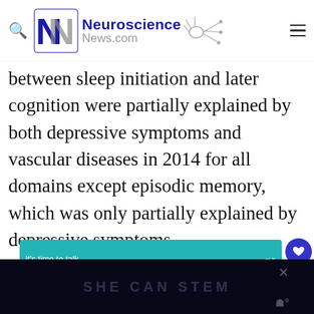Neuroscience News.com
between sleep initiation and later cognition were partially explained by both depressive symptoms and vascular diseases in 2014 for all domains except episodic memory, which was only partially explained by depressive symptoms.
[Figure (screenshot): Advertisement banner for Alzheimer's Association: 'It's time to talk about Alzheimer's.' with LEARN MORE button and Alzheimer's Association logo]
[Figure (screenshot): Dark banner at bottom with text 'SHE CAN STEM' partially visible]